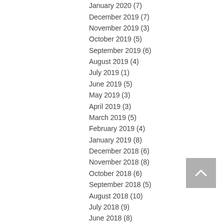January 2020 (7)
December 2019 (7)
November 2019 (3)
October 2019 (5)
September 2019 (6)
August 2019 (4)
July 2019 (1)
June 2019 (5)
May 2019 (3)
April 2019 (3)
March 2019 (5)
February 2019 (4)
January 2019 (8)
December 2018 (6)
November 2018 (8)
October 2018 (6)
September 2018 (5)
August 2018 (10)
July 2018 (9)
June 2018 (8)
[Figure (other): Back to top button - grey square with upward pointing chevron arrow]